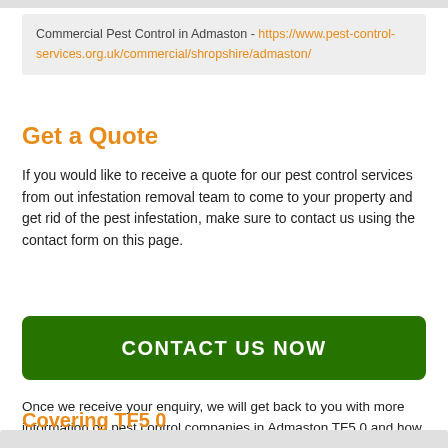Commercial Pest Control in Admaston - https://www.pest-control-services.org.uk/commercial/shropshire/admaston/
Get a Quote
If you would like to receive a quote for our pest control services from out infestation removal team to come to your property and get rid of the pest infestation, make sure to contact us using the contact form on this page.
[Figure (other): Green CONTACT US NOW button]
Once we receive your enquiry, we will get back to you with more information on pest control companies in Admaston TF5 0 and how our pest control company can help you.
Covering TF5 0